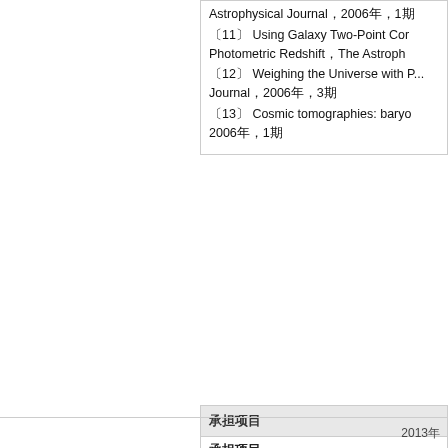Astrophysical Journal，2006年，1期
〔11〕 Using Galaxy Two-Point Cor... Photometric Redshift，The Astroph...
〔12〕 Weighing the Universe with P... Journal，2006年，3期
〔13〕 Cosmic tomographies: baryo... 2006年，1期
承担项目
承担项目
〔1〕 国家自然科学基金面上项目（主持人）：2011-10--20...
〔2〕 国家自然科学基金面上项目（主持人）：2011-01--2014...
〔3〕 ****重点实验室课题：2010-08--2013-08
〔4〕 国家自然科学基金重大研究计划培育项目（主持人）：2010-01--...
2013年